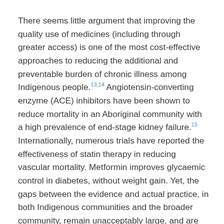There seems little argument that improving the quality use of medicines (including through greater access) is one of the most cost-effective approaches to reducing the additional and preventable burden of chronic illness among Indigenous people.13,14 Angiotensin-converting enzyme (ACE) inhibitors have been shown to reduce mortality in an Aboriginal community with a high prevalence of end-stage kidney failure.15 Internationally, numerous trials have reported the effectiveness of statin therapy in reducing vascular mortality. Metformin improves glycaemic control in diabetes, without weight gain. Yet, the gaps between the evidence and actual practice, in both Indigenous communities and the broader community, remain unacceptably large, and are limiting gains for those at risk of diabetes and for those who already have the disease and related conditions.